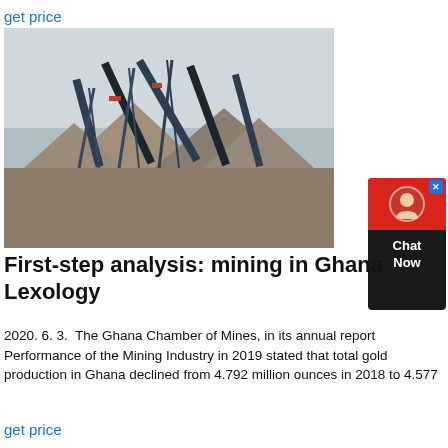get price
[Figure (photo): Mining equipment and machinery at an open-pit mine or quarry site, with large industrial conveyors and piles of crushed rock/gravel under a cloudy sky.]
First-step analysis: mining in Ghana Lexology
2020. 6. 3.  The Ghana Chamber of Mines, in its annual report Performance of the Mining Industry in 2019 stated that total gold production in Ghana declined from 4.792 million ounces in 2018 to 4.577
get price